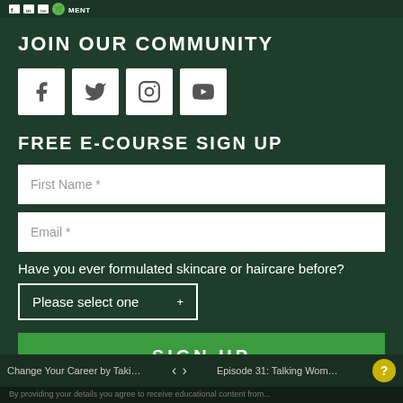JOIN OUR COMMUNITY
[Figure (other): Social media icons: Facebook, Twitter, Instagram, YouTube — white square boxes with dark icons]
FREE E-COURSE SIGN UP
First Name *
Email *
Have you ever formulated skincare or haircare before?
Please select one
SIGN UP
Change Your Career by Taking an O... < > Episode 31: Talking Women's H...